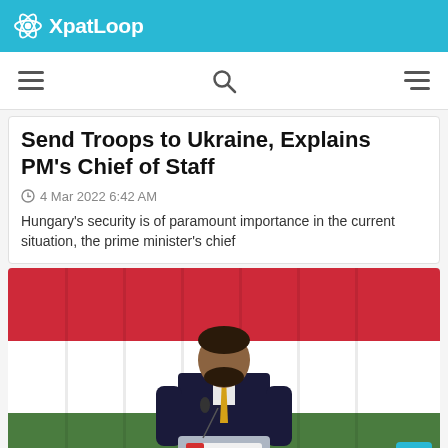XpatLoop
Send Troops to Ukraine, Explains PM's Chief of Staff
4 Mar 2022 6:42 AM
Hungary's security is of paramount importance in the current situation, the prime minister's chief
[Figure (photo): Man in dark suit with yellow tie speaking at a podium, surrounded by multiple Hungarian flags (red, white, green). A podium sign reads 'ÁLLJUNK KI MAGYARORSZÁGÁÉRT!']